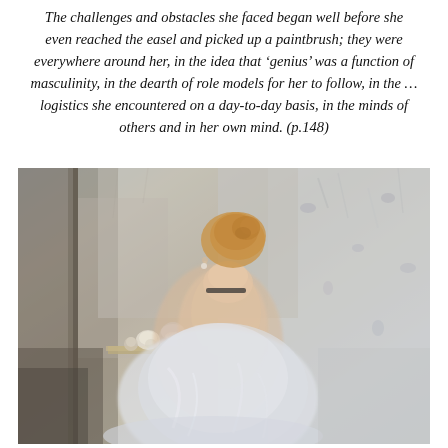The challenges and obstacles she faced began well before she even reached the easel and picked up a paintbrush; they were everywhere around her, in the idea that 'genius' was a function of masculinity, in the dearth of role models for her to follow, in the … logistics she encountered on a day-to-day basis, in the minds of others and in her own mind. (p.148)
[Figure (photo): An impressionist painting showing a woman seen from behind, with auburn hair pinned up, wearing a low-cut white/pale blue dress with a black choker necklace. She sits at what appears to be a dressing table with a mirror and small decorative items. The background is rendered in loose, impressionistic brushstrokes of pale greys and blues with floral hints.]